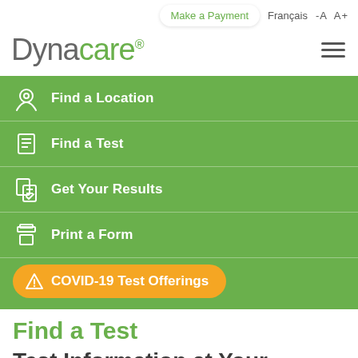Make a Payment  Français  -A  A+
[Figure (logo): Dynacare logo with registered trademark, and hamburger menu icon]
Find a Location
Find a Test
Get Your Results
Print a Form
COVID-19 Test Offerings
Find a Test
Test Information at Your Fingertips